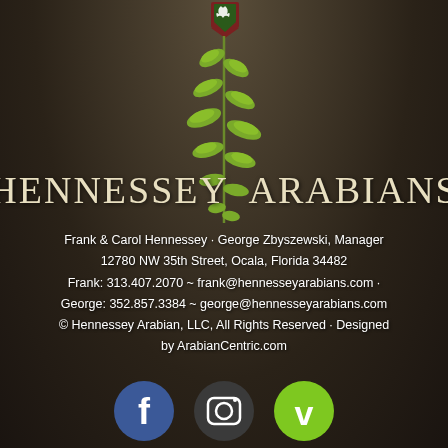[Figure (logo): Hennessey Arabians logo: green shield emblem with plant/leaf vine extending downward, decorative botanical illustration]
HENNESSEY ARABIANS
Frank & Carol Hennessey · George Zbyszewski, Manager
12780 NW 35th Street, Ocala, Florida 34482
Frank: 313.407.2070 ~ frank@hennesseyarabians.com ·
George: 352.857.3384 ~ george@hennesseyarabians.com
© Hennessey Arabian, LLC, All Rights Reserved · Designed by ArabianCentric.com
[Figure (logo): Three social media icons: Facebook (blue circle with f), Instagram (dark circle with camera icon), Vimeo (green circle with v)]